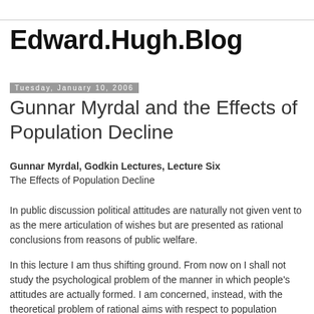Edward.Hugh.Blog
Tuesday, January 10, 2006
Gunnar Myrdal and the Effects of Population Decline
Gunnar Myrdal, Godkin Lectures, Lecture Six
The Effects of Population Decline
In public discussion political attitudes are naturally not given vent to as the mere articulation of wishes but are presented as rational conclusions from reasons of public welfare.
In this lecture I am thus shifting ground. From now on I shall not study the psychological problem of the manner in which people's attitudes are actually formed. I am concerned, instead, with the theoretical problem of rational aims with respect to population development, i.e., aims which can be